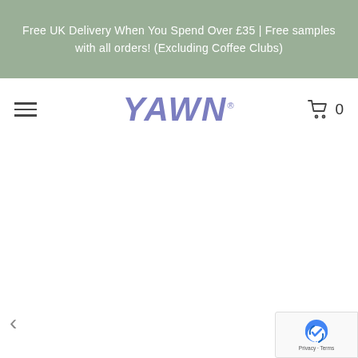Free UK Delivery When You Spend Over £35 | Free samples with all orders! (Excluding Coffee Clubs)
YAWN
[Figure (screenshot): Shopping cart icon with count 0]
[Figure (other): Left navigation arrow (<) for image carousel]
[Figure (other): Google reCAPTCHA badge with Privacy and Terms links]